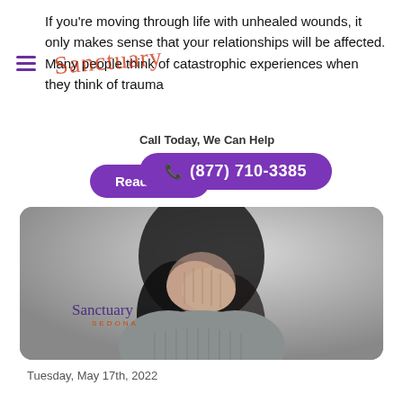If you're moving through life with unhealed wounds, it only makes sense that your relationships will be affected. Many people think of catastrophic experiences when they think of trauma
[Figure (logo): Sanctuary Sedona script logo in red overlaid on text]
Call Today, We Can Help
(877) 710-3385
Read More
[Figure (photo): Woman with dark hair covering her face with both hands, wearing a grey ribbed sweater, photographed against a grey background. Sanctuary Sedona logo overlaid in bottom left.]
Tuesday, May 17th, 2022